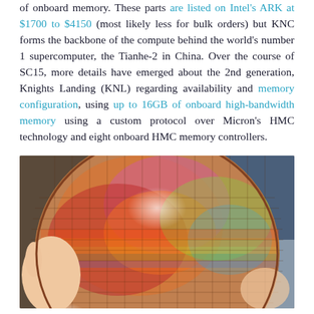of onboard memory. These parts are listed on Intel's ARK at $1700 to $4150 (most likely less for bulk orders) but KNC forms the backbone of the compute behind the world's number 1 supercomputer, the Tianhe-2 in China. Over the course of SC15, more details have emerged about the 2nd generation, Knights Landing (KNL) regarding availability and memory configuration, using up to 16GB of onboard high-bandwidth memory using a custom protocol over Micron's HMC technology and eight onboard HMC memory controllers.
[Figure (photo): A person holding a large circular silicon semiconductor wafer showing colorful iridescent diffraction patterns in red, orange, pink, green, and yellow hues against a light background.]